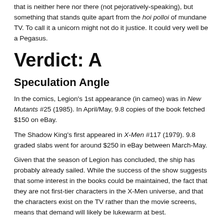that is neither here nor there (not pejoratively-speaking), but something that stands quite apart from the hoi polloi of mundane TV.  To call it a unicorn might not do it justice.  It could very well be a Pegasus.
Verdict: A
Speculation Angle
In the comics, Legion's 1st appearance (in cameo) was in New Mutants #25 (1985).  In April/May, 9.8 copies of the book fetched $150 on eBay.
The Shadow King's first appeared  in X-Men #117 (1979).  9.8 graded slabs went for around $250 in eBay between March-May.
Given that the season of Legion has concluded, the ship has probably already sailed.  While the success of the show suggests that some interest in the books could be maintained, the fact that they are not first-tier characters in the X-Men universe, and that the characters exist on the TV rather than the movie screens, means that demand will likely be lukewarm at best.
The post Legion Season 1 – Sui Generis appeared first on Comic Book